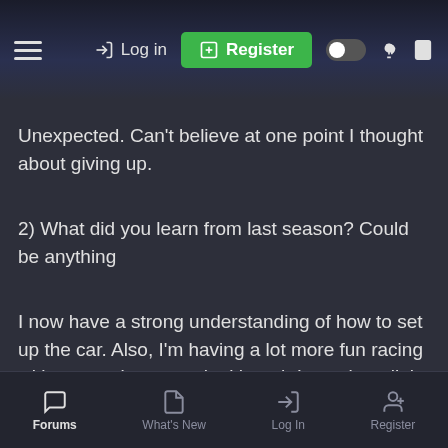Log in  Register
Unexpected. Can't believe at one point I thought about giving up.
2) What did you learn from last season? Could be anything
I now have a strong understanding of how to set up the car. Also, I'm having a lot more fun racing without traction control, although I may be a little slower.
3) As per the real F1 season, do you think any teams will make a big
Forums  What's New  Log In  Register